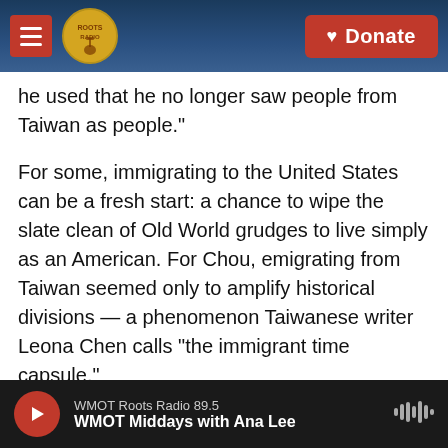Roots Radio | Donate
he used that he no longer saw people from Taiwan as people."
For some, immigrating to the United States can be a fresh start: a chance to wipe the slate clean of Old World grudges to live simply as an American. For Chou, emigrating from Taiwan seemed only to amplify historical divisions — a phenomenon Taiwanese writer Leona Chen calls "the immigrant time capsule."
"The very salient political conflicts and tensions experienced during martial law were sort of incubated and carried over by our parents and
WMOT Roots Radio 89.5 | WMOT Middays with Ana Lee